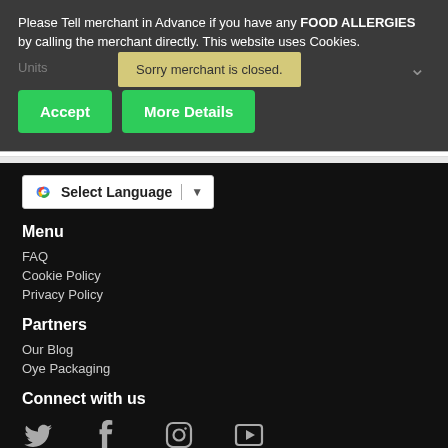Please Tell merchant in Advance if you have any FOOD ALLERGIES by calling the merchant directly. This website uses Cookies.
Sorry merchant is closed.
Accept
More Details
Select Language
Menu
FAQ
Cookie Policy
Privacy Policy
Partners
Our Blog
Oye Packaging
Connect with us
[Figure (other): Social media icons: Twitter, Facebook, Instagram, YouTube]